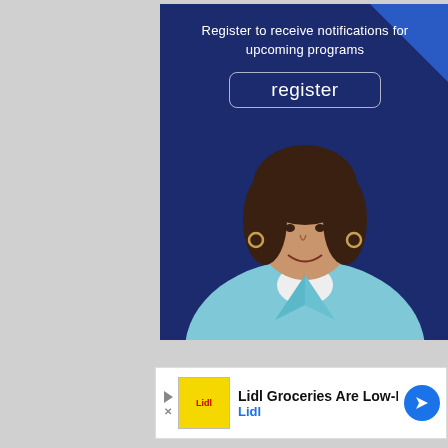[Figure (infographic): Government program registration card with dark navy blue background. Top text reads 'Register to receive notifications for upcoming programs'. A rounded rectangle button with the word 'register' is centered. Below is a photo of a woman with brown hair in a light blue blazer smiling, posed against the navy background. A diagonal blue accent is in the top-right corner.]
[Figure (infographic): Advertisement banner at bottom: Lidl Groceries Are Low-Priced. Shows Lidl logo (yellow background with red L), navigation icon (blue circle with white arrow/diamond). Left side has play and X controls.]